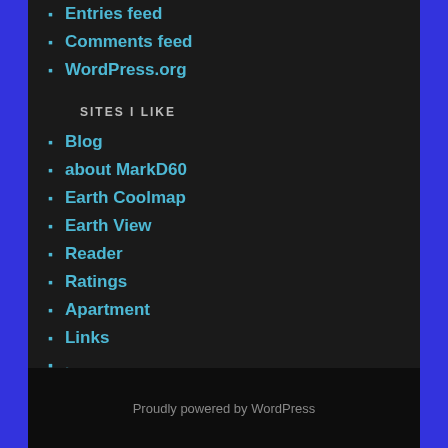Entries feed
Comments feed
WordPress.org
SITES I LIKE
Blog
about MarkD60
Earth Coolmap
Earth View
Reader
Ratings
Apartment
Links
,
Proudly powered by WordPress